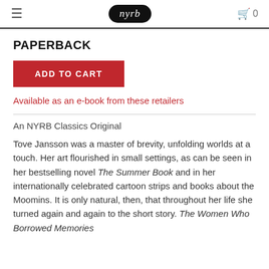nyrb
PAPERBACK
ADD TO CART
Available as an e-book from these retailers
An NYRB Classics Original
Tove Jansson was a master of brevity, unfolding worlds at a touch. Her art flourished in small settings, as can be seen in her bestselling novel The Summer Book and in her internationally celebrated cartoon strips and books about the Moomins. It is only natural, then, that throughout her life she turned again and again to the short story. The Women Who Borrowed Memories